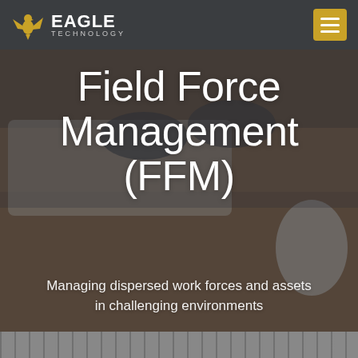[Figure (screenshot): Eagle Technology company logo with golden eagle icon on dark grey header bar, with hamburger menu button in gold on the right]
[Figure (photo): Background photo of a wooden desk with laptop, glasses, and Apple mouse, overlaid with dark semi-transparent tint]
Field Force Management (FFM)
Managing dispersed work forces and assets in challenging environments
[Figure (photo): Partial photo strip visible at the very bottom of the page]